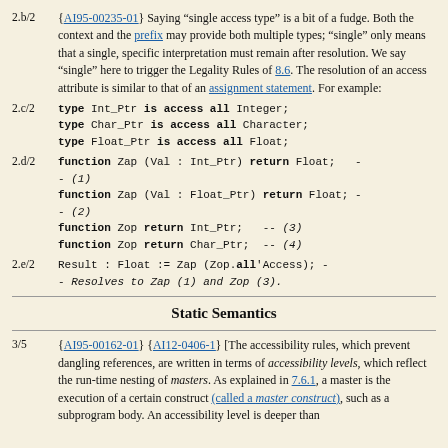2.b/2 {AI95-00235-01} Saying "single access type" is a bit of a fudge. Both the context and the prefix may provide both multiple types; "single" only means that a single, specific interpretation must remain after resolution. We say "single" here to trigger the Legality Rules of 8.6. The resolution of an access attribute is similar to that of an assignment statement. For example:
2.c/2 type Int_Ptr is access all Integer;
    type Char_Ptr is access all Character;
    type Float_Ptr is access all Float;
2.d/2 function Zap (Val : Int_Ptr) return Float;   -- (1)
    function Zap (Val : Float_Ptr) return Float; -- (2)
    function Zop return Int_Ptr;   -- (3)
    function Zop return Char_Ptr;  -- (4)
2.e/2 Result : Float := Zap (Zop.all'Access); -- Resolves to Zap (1) and Zop (3).
Static Semantics
3/5 {AI95-00162-01} {AI12-0406-1} [The accessibility rules, which prevent dangling references, are written in terms of accessibility levels, which reflect the run-time nesting of masters. As explained in 7.6.1, a master is the execution of a certain construct (called a master construct), such as a subprogram body. An accessibility level is deeper than...